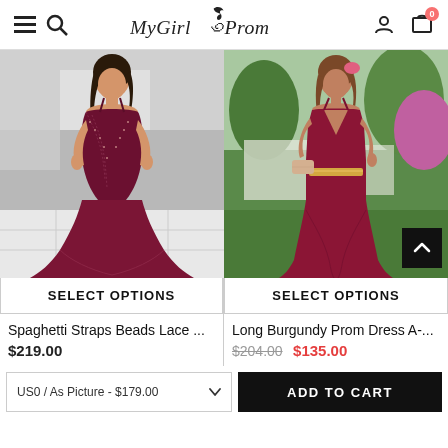MyGirlProm — navigation header with menu, search, logo, account, and cart (0 items)
[Figure (photo): Young woman wearing a dark burgundy/wine mermaid-style prom dress with spaghetti straps, beaded lace bodice, and full tulle skirt, photographed indoors with tile floor]
SELECT OPTIONS
Spaghetti Straps Beads Lace ...
$219.00
[Figure (photo): Young woman wearing a dark burgundy/wine A-line prom dress with deep V-neckline, spaghetti straps, and gold belt, photographed outdoors at a formal event with greenery in background]
SELECT OPTIONS
Long Burgundy Prom Dress A-...
$204.00  $135.00
US0 / As Picture - $179.00
ADD TO CART